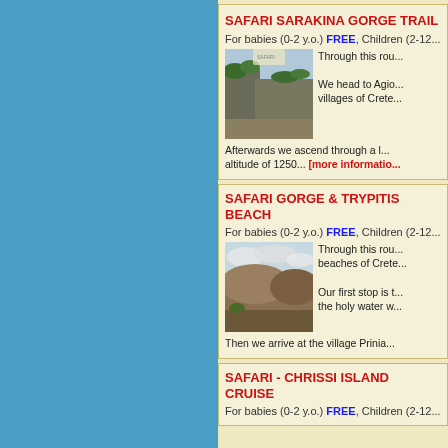[Figure (photo): Blue background panel on the left side of the page]
SAFARI SARAKINA GORGE TRAIL
For babies (0-2 y.o.) FREE, Children (2-12...
[Figure (photo): Photo of Sarakina Gorge rocky landscape with vegetation]
Through this rou... We head to Agio... villages of Crete...
Afterwards we ascend through a l... altitude of 1250... [more information]
SAFARI GORGE & TRYPITIS BEACH
For babies (0-2 y.o.) FREE, Children (2-12...
[Figure (photo): Photo of gorge and beach landscape in Crete]
Through this rou... beaches of Crete... Our first stop is t... the holy water w...
Then we arrive at the village Prinia...
SAFARI - CHRISSI ISLAND CRUISE
For babies (0-2 y.o.) FREE, Children (2-12...